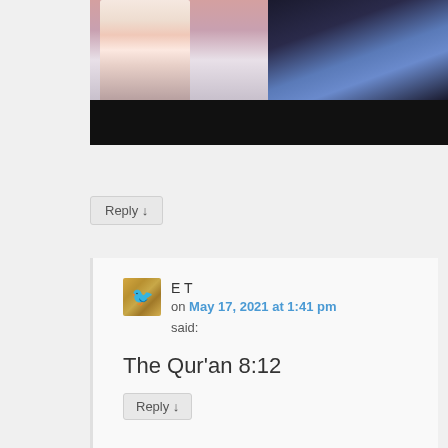[Figure (photo): Partial photo of two people, a woman in a pink jacket with pearl necklace and a man in a dark suit with blue tie, with a black bar overlay at the bottom]
Reply ↓
E T
on May 17, 2021 at 1:41 pm
said:
The Qur'an 8:12
Reply ↓